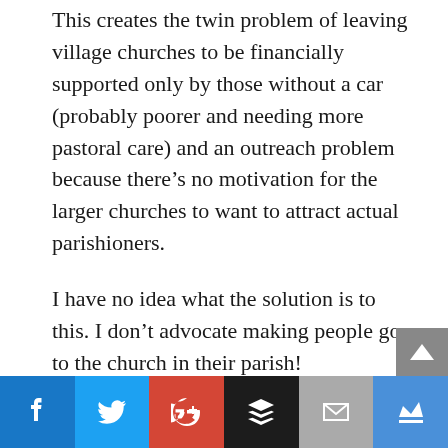This creates the twin problem of leaving village churches to be financially supported only by those without a car (probably poorer and needing more pastoral care) and an outreach problem because there's no motivation for the larger churches to want to attract actual parishioners.
I have no idea what the solution is to this. I don't advocate making people go to the church in their parish!
My own church looks very successful on the face of it. I have no idea of actual figures but new people come in three flavours – people
[Figure (other): Social sharing bar with Facebook, Twitter, Google+, Buffer, Email, and Crown/Bloglovin buttons]